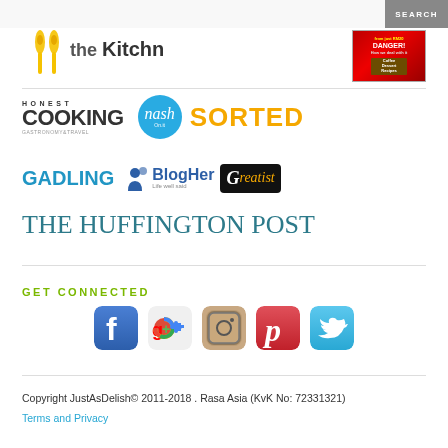[Figure (screenshot): Search bar at top of webpage]
[Figure (logo): theKitchn logo with yellow spoon icons]
[Figure (photo): Magazine cover thumbnail showing coffee dessert recipes]
[Figure (logo): Honest Cooking - Gastronomy & Travel logo]
[Figure (logo): Nash circular logo in blue]
[Figure (logo): SORTED logo in orange/yellow]
[Figure (logo): GADLING logo in blue]
[Figure (logo): BlogHer - Life well said logo]
[Figure (logo): Greatist logo on black background]
[Figure (logo): The Huffington Post logo in teal]
GET CONNECTED
[Figure (infographic): Social media icons: Facebook, Google+, Instagram, Pinterest, Twitter]
Copyright JustAsDelish© 2011-2018 . Rasa Asia (KvK No: 72331321)
Terms and Privacy